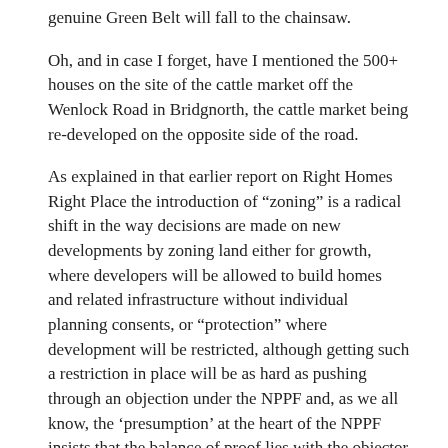genuine Green Belt will fall to the chainsaw.
Oh, and in case I forget, have I mentioned the 500+ houses on the site of the cattle market off the Wenlock Road in Bridgnorth, the cattle market being re-developed on the opposite side of the road.
As explained in that earlier report on Right Homes Right Place the introduction of “zoning” is a radical shift in the way decisions are made on new developments by zoning land either for growth, where developers will be allowed to build homes and related infrastructure without individual planning consents, or “protection” where development will be restricted, although getting such a restriction in place will be as hard as pushing through an objection under the NPPF and, as we all know, the ‘presumption’ at the heart of the NPPF insists that the balance of proof lies with the objector to make a case against a development, not with the developer to make a case for, and, given that the NPPF is weighted in favour of the development, the benefit of any doubt will be given to the developer.